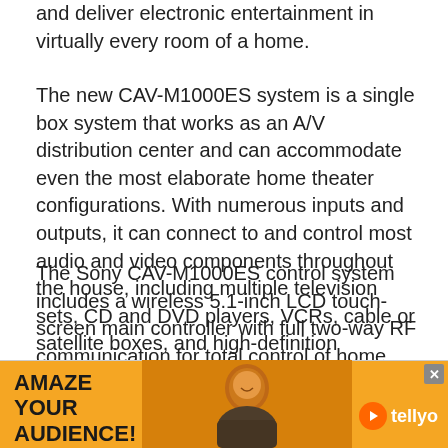and deliver electronic entertainment in virtually every room of a home.
The new CAV-M1000ES system is a single box system that works as an A/V distribution center and can accommodate even the most elaborate home theater configurations. With numerous inputs and outputs, it can connect to and control most audio and video components throughout the house, including multiple television sets, CD and DVD players, VCRs, cable or satellite boxes, and high-definition receivers.
The Sony CAV-M1000ES control system includes a wireless 5.1-inch LCD touch-screen main controller with full two-way RF communication for total control of home media devices; four RS-232 ports (three rear and one front for PC setup) and one Control A1 II port for...
[Figure (other): Advertisement banner for Tellyo with orange background, text 'AMAZE YOUR AUDIENCE!' and a photo of a smiling man, plus the Tellyo logo with play button icon.]